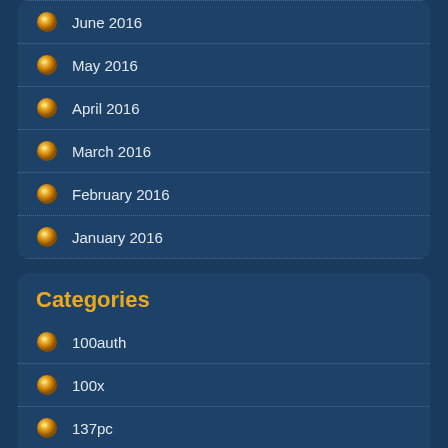June 2016
May 2016
April 2016
March 2016
February 2016
January 2016
Categories
100auth
100x
137pc
15lbs
18kgold
1000l